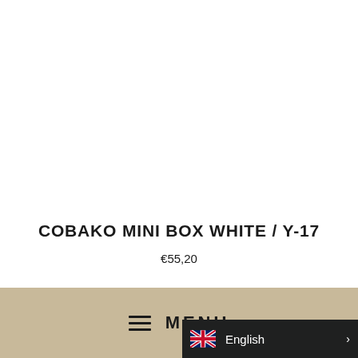COBAKO MINI BOX WHITE / Y-17
€55,20
≡  MENU
English